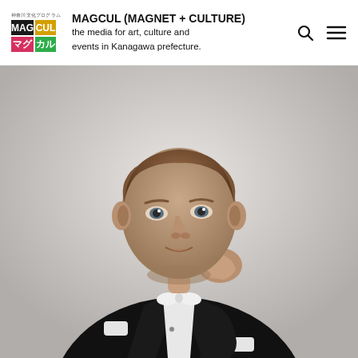MAGCUL (MAGNET + CULTURE) the media for art, culture and events in Kanagawa prefecture.
[Figure (photo): Black and white portrait photo of a man in a formal black tuxedo with white bow tie, resting his chin/fist on his hand in a thoughtful pose against a light grey background.]